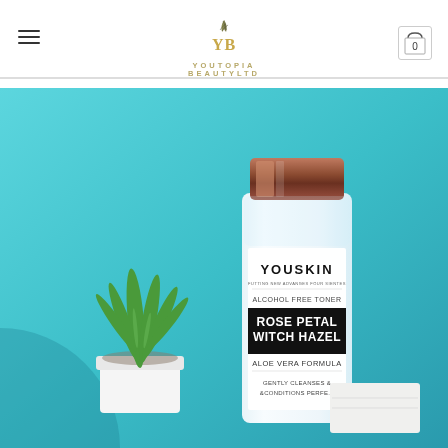[Figure (logo): Youtopia Beauty Ltd logo with YB monogram and leaf decoration]
[Figure (photo): YouSkin Alcohol Free Toner Rose Petal Witch Hazel Aloe Vera Formula product bottle on teal background with aloe plant]